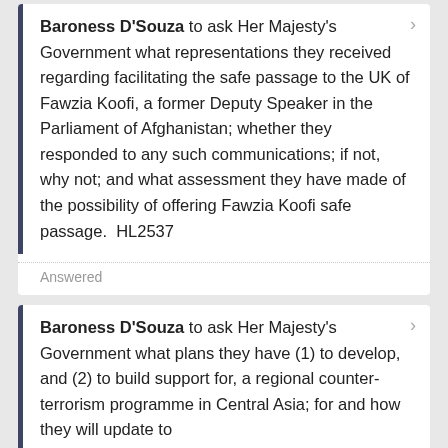Baroness D'Souza to ask Her Majesty's Government what representations they received regarding facilitating the safe passage to the UK of Fawzia Koofi, a former Deputy Speaker in the Parliament of Afghanistan; whether they responded to any such communications; if not, why not; and what assessment they have made of the possibility of offering Fawzia Koofi safe passage. HL2537
Answered
Baroness D'Souza to ask Her Majesty's Government what plans they have (1) to develop, and (2) to build support for, a regional counter-terrorism programme in Central Asia; for and how they will update to